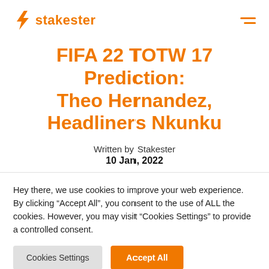stakester
FIFA 22 TOTW 17 Prediction: Theo Hernandez, Headliners Nkunku
Written by Stakester
10 Jan, 2022
Hey there, we use cookies to improve your web experience. By clicking “Accept All”, you consent to the use of ALL the cookies. However, you may visit "Cookies Settings" to provide a controlled consent.
Cookies Settings | Accept All